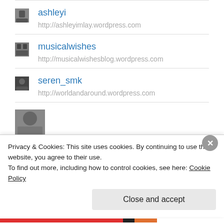ashleyi
http://ashleyimlay.wordpress.com
musicalwishes
http://musicalwishesblog.wordpress.com
seren_smk
http://worldandaround.wordpress.com
[Figure (photo): Partial avatar thumbnail at bottom of list]
Privacy & Cookies: This site uses cookies. By continuing to use this website, you agree to their use.
To find out more, including how to control cookies, see here: Cookie Policy